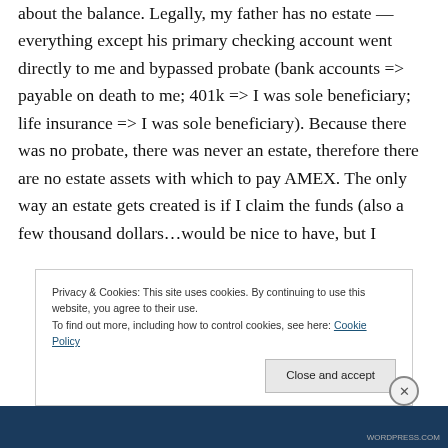about the balance. Legally, my father has no estate — everything except his primary checking account went directly to me and bypassed probate (bank accounts => payable on death to me; 401k => I was sole beneficiary; life insurance => I was sole beneficiary). Because there was no probate, there was never an estate, therefore there are no estate assets with which to pay AMEX. The only way an estate gets created is if I claim the funds (also a few thousand dollars…would be nice to have, but I
Privacy & Cookies: This site uses cookies. By continuing to use this website, you agree to their use.
To find out more, including how to control cookies, see here: Cookie Policy